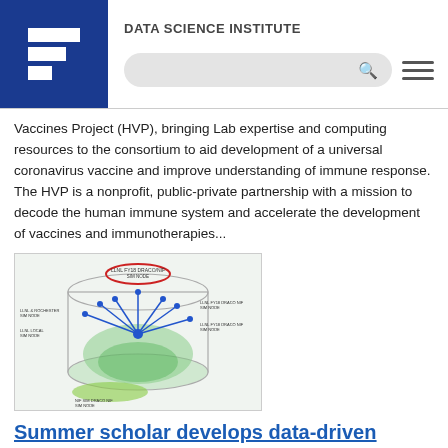DATA SCIENCE INSTITUTE
Vaccines Project (HVP), bringing Lab expertise and computing resources to the consortium to aid development of a universal coronavirus vaccine and improve understanding of immune response. The HVP is a nonprofit, public-private partnership with a mission to decode the human immune system and accelerate the development of vaccines and immunotherapies...
[Figure (schematic): A scientific diagram depicting a complex biological or network structure with branching elements, labels, and colored highlights including red circle at top, blue connectors, and green areas at the bottom. Small text labels annotate various parts of the diagram.]
Summer scholar develops data-driven approaches to key NIF diagnostics